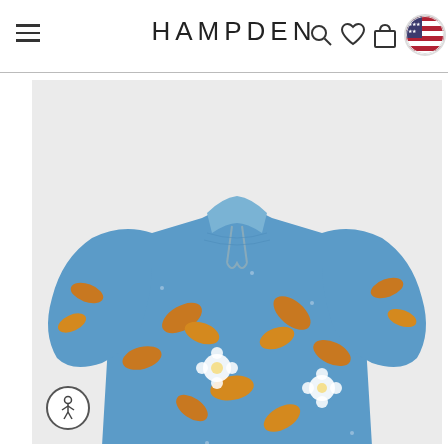HAMPDEN
[Figure (photo): A blue floral print blouse with puffed long sleeves, a tie neckline, and a mix of blue, amber/orange, and white botanical print pattern. The top portion of the product photo is shown against a light gray background.]
[Figure (logo): Accessibility icon button (circle with person in wheelchair symbol) in lower left of product image area.]